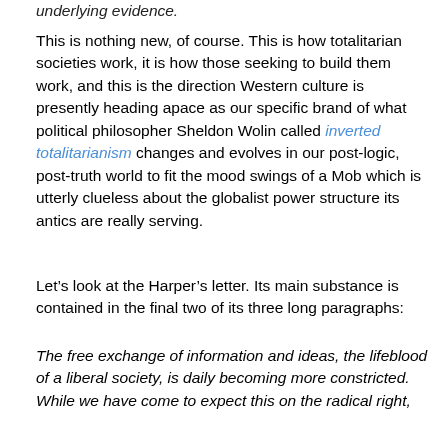underlying evidence.
This is nothing new, of course. This is how totalitarian societies work, it is how those seeking to build them work, and this is the direction Western culture is presently heading apace as our specific brand of what political philosopher Sheldon Wolin called inverted totalitarianism changes and evolves in our post-logic, post-truth world to fit the mood swings of a Mob which is utterly clueless about the globalist power structure its antics are really serving.
Let’s look at the Harper’s letter. Its main substance is contained in the final two of its three long paragraphs:
The free exchange of information and ideas, the lifeblood of a liberal society, is daily becoming more constricted. While we have come to expect this on the radical right,